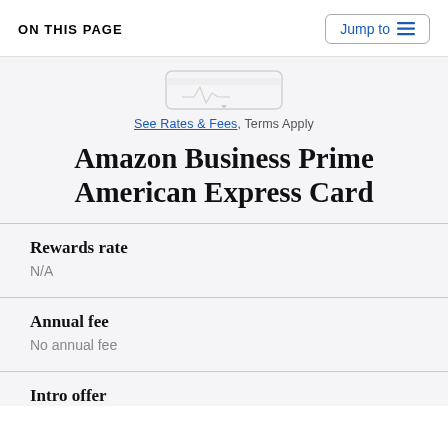ON THIS PAGE
Jump to
[Figure (illustration): Faint outline/watermark of a credit card in the background]
See Rates & Fees, Terms Apply
Amazon Business Prime American Express Card
Rewards rate
N/A
Annual fee
No annual fee
Intro offer